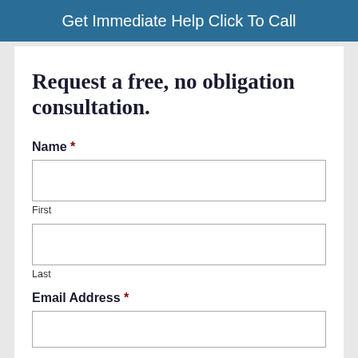Get Immediate Help Click To Call
Request a free, no obligation consultation.
Name *
First
Last
Email Address *